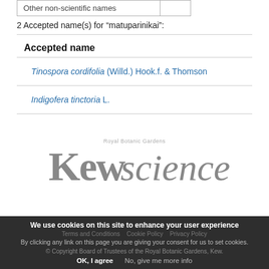| Other non-scientific names |
| --- |
2 Accepted name(s) for "matuparinikai":
| Accepted name |
| --- |
| Tinospora cordifolia (Willd.) Hook.f. & Thomson |
| Indigofera tinctoria L. |
[Figure (logo): Royal Botanic Gardens Kew Science logo]
We use cookies on this site to enhance your user experience
Terms and Conditions  Cookie Policy  Privacy Policy
By clicking any link on this page you are giving your consent for us to set cookies.
© Copyright Board of Trustees of the Royal Botanic Gardens, Kew.
OK, I agree  No, give me more info